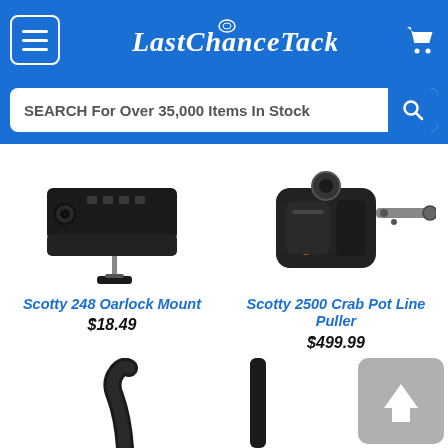LastChanceTackle.com
SEARCH For Over 35,000 Items In Stock
[Figure (photo): Scotty 248 Oarlock Mount product photo showing a black plastic mounting bracket with hardware bolt]
Scotty 248 Oarlock Mount
$18.49
[Figure (photo): Scotty 2500 Crab Pot Line Puller product photo showing a black electric line puller device with knob and arm]
Scotty 2500 Crab Pot Line Puller
$499.99
[Figure (photo): Partial product image at bottom left - appears to be a curved black fishing rod tip or accessory]
[Figure (photo): Partial product image at bottom right - appears to be a black cylindrical rod or handle]